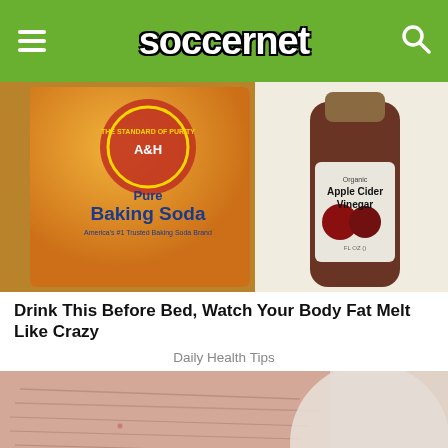soccernet
[Figure (photo): Arm & Hammer Pure Baking Soda box next to a bottle of Organic Apple Cider Vinegar]
Drink This Before Bed, Watch Your Body Fat Melt Like Crazy
Daily Health Tips
[Figure (photo): Close-up of an elderly person's wrinkled face with a white facial mask applied]